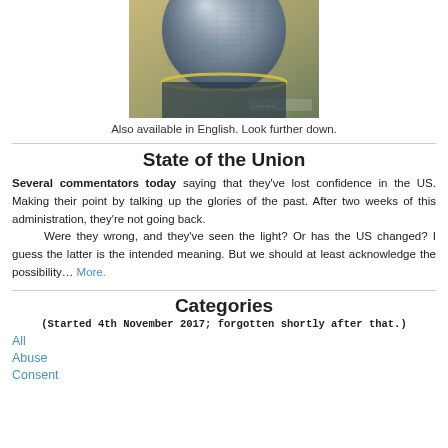[Figure (photo): Close-up photo of a metallic microphone head against a blurred background]
Also available in English. Look further down.
State of the Union
Several commentators today saying that they've lost confidence in the US. Making their point by talking up the glories of the past. After two weeks of this administration, they're not going back.

Were they wrong, and they've seen the light? Or has the US changed? I guess the latter is the intended meaning. But we should at least acknowledge the possibility… More.
Categories
(Started 4th November 2017; forgotten shortly after that.)
All
Abuse
Consent